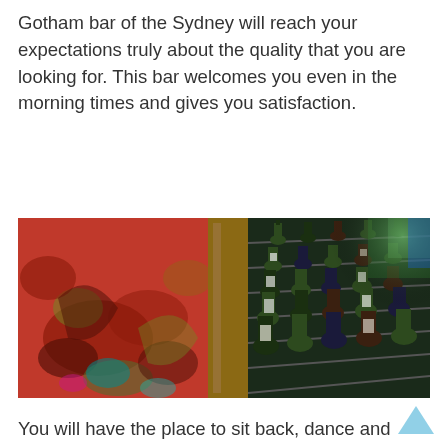Gotham bar of the Sydney will reach your expectations truly about the quality that you are looking for. This bar welcomes you even in the morning times and gives you satisfaction.
[Figure (photo): Interior photo of a bar showing a colorful red patterned carpet/floor on the left and a wine rack display unit filled with bottles of wine on the right, with warm lighting and a glowing bar in the background.]
You will have the place to sit back, dance and relax in the upper stairs of the bar and in the down stairs a bar with variety of drinks such as Hobo cup and cocktail.